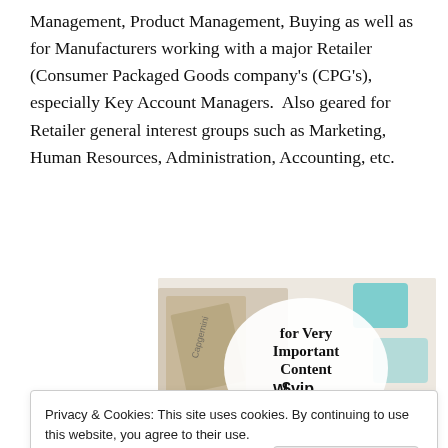Management, Product Management, Buying as well as for Manufacturers working with a major Retailer (Consumer Packaged Goods company's (CPG's), especially Key Account Managers.  Also geared for Retailer general interest groups such as Marketing, Human Resources, Administration, Accounting, etc.
[Figure (other): WordPress VIP advertisement banner showing logos of various companies (Capgemini, Salesforce, etc.) with text 'for Very Important Content', WordPress VIP logo, and 'Learn more' button]
Privacy & Cookies: This site uses cookies. By continuing to use this website, you agree to their use.
To find out more, including how to control cookies, see here: Cookie Policy